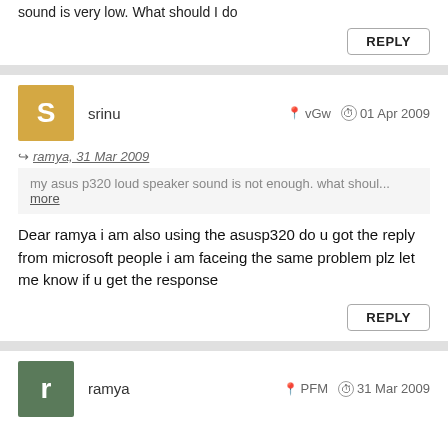sound is very low. What should I do
REPLY
srinu  vGw  01 Apr 2009
ramya, 31 Mar 2009
my asus p320 loud speaker sound is not enough. what shoul... more
Dear ramya i am also using the asusp320 do u got the reply from microsoft people i am faceing the same problem plz let me know if u get the response
REPLY
ramya  PFM  31 Mar 2009